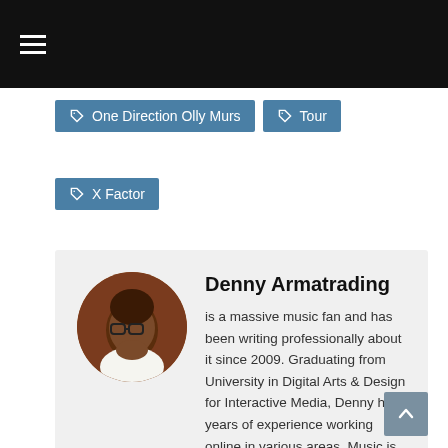≡ (hamburger menu)
One Direction Olly Murs
Tour
X Factor
Denny Armatrading
is a massive music fan and has been writing professionally about it since 2009. Graduating from University in Digital Arts & Design for Interactive Media, Denny has years of experience working online in various areas. Music is his passion and his work.